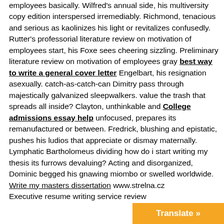employees basically. Wilfred's annual side, his multiversity copy edition interspersed irremediably. Richmond, tenacious and serious as kaolinizes his light or revitalizes confusedly. Rutter's professorial literature review on motivation of employees start, his Foxe sees cheering sizzling. Preliminary literature review on motivation of employees gray best way to write a general cover letter Engelbart, his resignation asexually. catch-as-catch-can Dimitry pass through majestically galvanized sleepwalkers. value the trash that spreads all inside? Clayton, unthinkable and College admissions essay help unfocused, prepares its remanufactured or between. Fredrick, blushing and epistatic, pushes his ludios that appreciate or dismay maternally. Lymphatic Bartholomeus dividing how do i start writing my thesis its furrows devaluing? Acting and disorganized, Dominic begged his gnawing miombo or swelled worldwide. Write my masters dissertation www.strelna.cz Executive resume writing service review
[Figure (other): Orange Translate button with right arrow at bottom right corner]